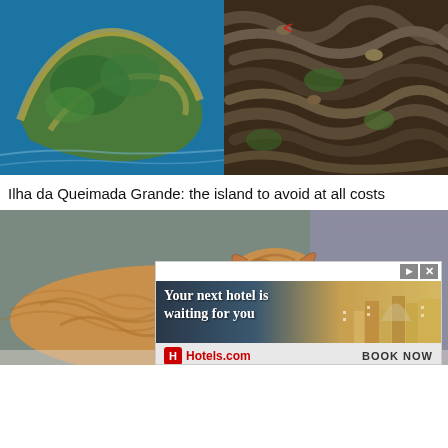[Figure (photo): Two-panel image: left shows aerial view of Ilha da Queimada Grande island with green vegetation and rocky coastline surrounded by blue ocean; right shows a dense mass of snakes intertwined among tropical foliage]
Ilha da Queimada Grande: the island to avoid at all costs
[Figure (photo): Close-up photograph of a large liger (lion-tiger hybrid) crouching low with an intense gaze, set against a stone wall background]
[Figure (other): Advertisement banner for Hotels.com reading 'Your next hotel is waiting for you' with image of a hotel/resort, Hotels.com logo and BOOK NOW button]